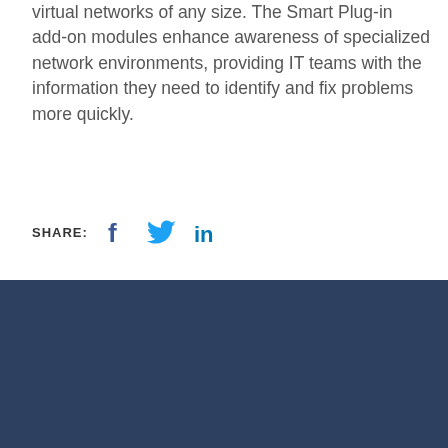operations team to efficiently manage physical and virtual networks of any size. The Smart Plug-in add-on modules enhance awareness of specialized network environments, providing IT teams with the information they need to identify and fix problems more quickly.
SHARE:
[Figure (logo): Social share icons: Facebook, Twitter, LinkedIn]
[Figure (logo): Zones Tech Hub logo - IT insights from IT professionals]
Zones tech hub - IT insights from IT professionals